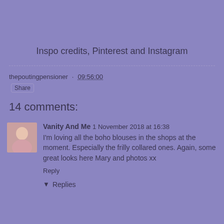Inspo credits, Pinterest and Instagram
thepoutingpensioner  09:56:00
Share
14 comments:
Vanity And Me  1 November 2018 at 16:38
I'm loving all the boho blouses in the shops at the moment. Especially the frilly collared ones. Again, some great looks here Mary and photos xx
Reply
Replies